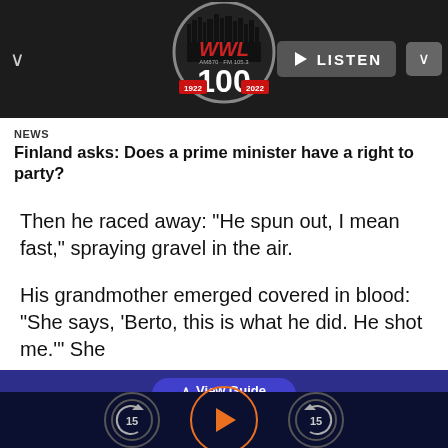[Figure (screenshot): WWL radio app interface showing logo, LISTEN button, news headline, article text, View Guide bar, and player controls]
NEWS
Finland asks: Does a prime minister have a right to party?
Then he raced away: “He spun out, I mean fast,” spraying gravel in the air.
His grandmother emerged covered in blood: “She says, ‘Berto, this is what he did. He shot me.’” She
View Guide
15
15